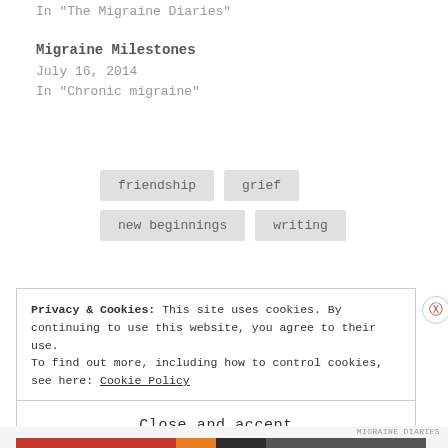In "The Migraine Diaries"
Migraine Milestones
July 16, 2014
In "Chronic migraine"
friendship
grief
new beginnings
writing
Privacy & Cookies: This site uses cookies. By continuing to use this website, you agree to their use. To find out more, including how to control cookies, see here: Cookie Policy
Close and accept